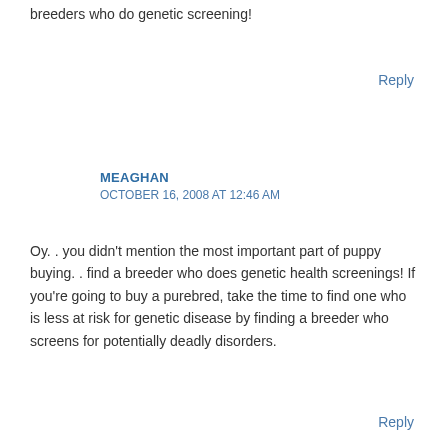breeders who do genetic screening!
Reply
MEAGHAN
OCTOBER 16, 2008 AT 12:46 AM
Oy. . you didn't mention the most important part of puppy buying. . find a breeder who does genetic health screenings! If you're going to buy a purebred, take the time to find one who is less at risk for genetic disease by finding a breeder who screens for potentially deadly disorders.
Reply